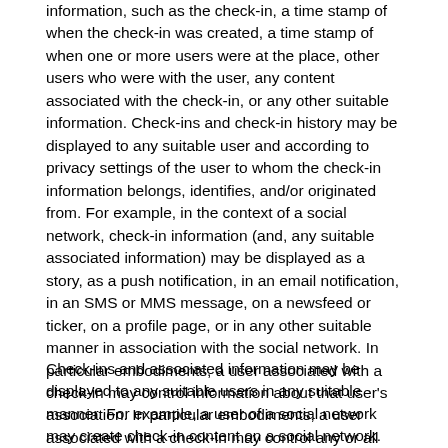information, such as the check-in, a time stamp of when the check-in was created, a time stamp of when one or more users were at the place, other users who were with the user, any content associated with the check-in, or any other suitable information. Check-ins and check-in history may be displayed to any suitable user and according to privacy settings of the user to whom the check-in information belongs, identifies, and/or originated from. For example, in the context of a social network, check-in information (and, any suitable associated information) may be displayed as a story, as a push notification, in an email notification, in an SMS or MMS message, on a newsfeed or ticker, on a profile page, or in any other suitable manner in association with the social network. In particular embodiments, a user associated with a check-in may control information about that user's association. In particular embodiments, a user associated with a check-in may control any or all information about the check-in.
Check-ins and associated information may be displayed to any suitable users in any suitable manner. For example, a user of a social network may create check-in content on a social network. Other users of the social network may...